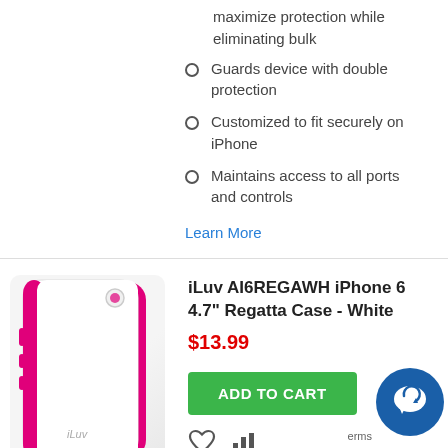maximize protection while eliminating bulk
Guards device with double protection
Customized to fit securely on iPhone
Maintains access to all ports and controls
Learn More
[Figure (photo): iLuv Regatta iPhone 6 case in white with pink accents]
iLuv AI6REGAWH iPhone 6 4.7" Regatta Case - White
$13.99
ADD TO CART